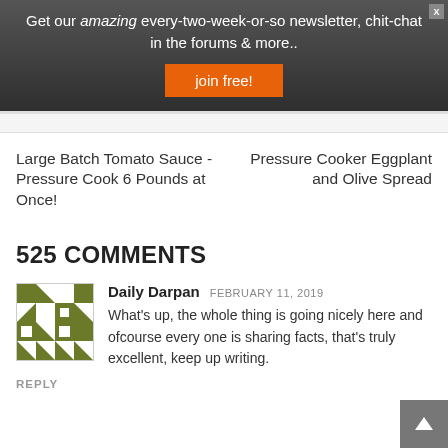Get our amazing every-two-week-or-so newsletter, chit-chat in the forums & more..
join free!
Large Batch Tomato Sauce -Pressure Cook 6 Pounds at Once!
Pressure Cooker Eggplant and Olive Spread
525 COMMENTS
[Figure (illustration): Green and white geometric/quilted pattern avatar for user Daily Darpan]
Daily Darpan  FEBRUARY 11, 2019
What's up, the whole thing is going nicely here and ofcourse every one is sharing facts, that's truly excellent, keep up writing.
REPLY